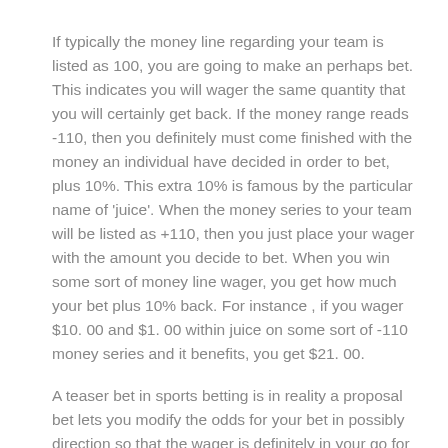If typically the money line regarding your team is listed as 100, you are going to make an perhaps bet. This indicates you will wager the same quantity that you will certainly get back. If the money range reads -110, then you definitely must come finished with the money an individual have decided in order to bet, plus 10%. This extra 10% is famous by the particular name of 'juice'. When the money series to your team will be listed as +110, then you just place your wager with the amount you decide to bet. When you win some sort of money line wager, you get how much your bet plus 10% back. For instance , if you wager $10. 00 and $1. 00 within juice on some sort of -110 money series and it benefits, you get $21. 00.
A teaser bet in sports betting is in reality a proposal bet lets you modify the odds for your bet in possibly direction so that the wager is definitely in your go for